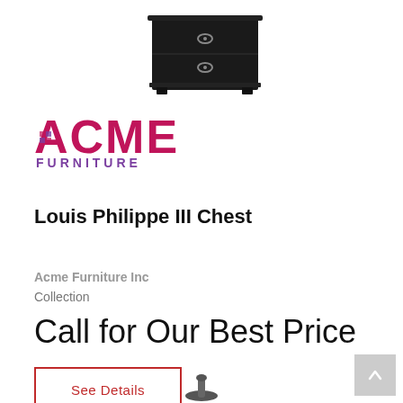[Figure (photo): Black nightstand chest with two drawers and silver hardware, partially visible at top of page]
[Figure (logo): Acme Furniture logo with magenta/pink ACME text and purple FURNITURE text below]
Louis Philippe III Chest
Acme Furniture Inc
Collection
Call for Our Best Price
See Details
[Figure (photo): Bottom of another product partially visible at bottom of page]